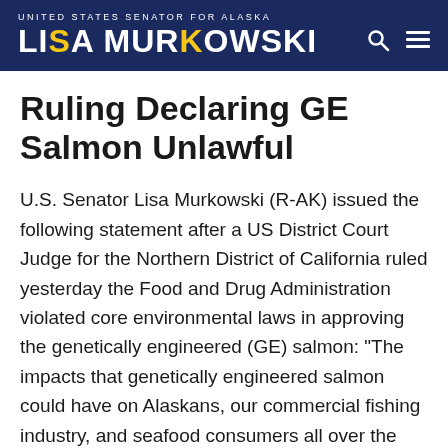UNITED STATES SENATOR FOR ALASKA — LISA MURKOWSKI
Ruling Declaring GE Salmon Unlawful
U.S. Senator Lisa Murkowski (R-AK) issued the following statement after a US District Court Judge for the Northern District of California ruled yesterday the Food and Drug Administration violated core environmental laws in approving the genetically engineered (GE) salmon: "The impacts that genetically engineered salmon could have on Alaskans, our commercial fishing industry, and seafood consumers all over the world are